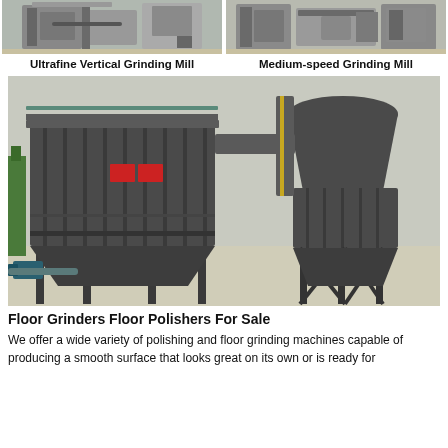[Figure (photo): Photo of Ultrafine Vertical Grinding Mill machine in industrial setting]
Ultrafine Vertical Grinding Mill
[Figure (photo): Photo of Medium-speed Grinding Mill machine in industrial setting]
Medium-speed Grinding Mill
[Figure (photo): Large industrial floor grinder/polisher equipment with dust collector and cyclone separator, black metal structure, outdoors at industrial site]
Floor Grinders Floor Polishers For Sale
We offer a wide variety of polishing and floor grinding machines capable of producing a smooth surface that looks great on its own or is ready for